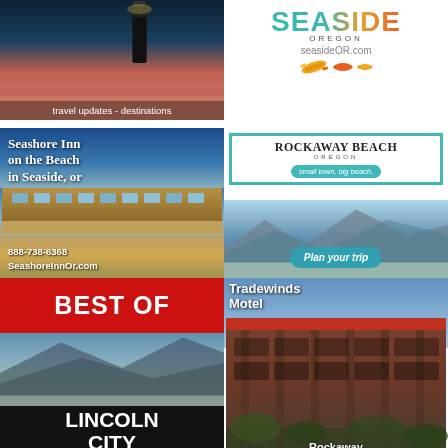[Figure (photo): Coastal scene with lighthouse silhouette against sunset sky with text 'travel updates - destinations']
[Figure (logo): Seaside Oregon logo with colorful text and paddle/fish icons, seasideOR.com]
[Figure (photo): Seashore Inn on the Beach in Seaside, OR advertisement with hotel photo, phone 888-738-6368, SeashoreInnOr.com]
[Figure (photo): Rockaway Beach Oregon advertisement - small town, big beach - Plan your trip]
[Figure (photo): Best of Lincoln City advertisement with red banner and beach photo]
[Figure (photo): Tradewinds Motel Rockaway advertisement with motel building photo]